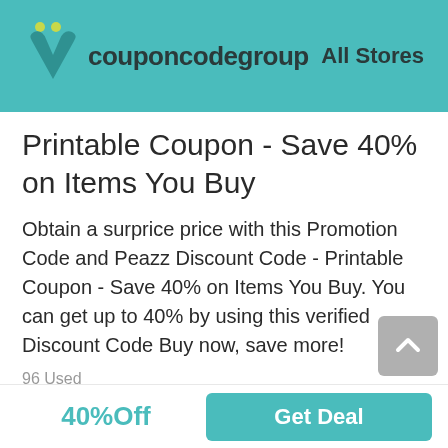couponcodegroup   All Stores
Printable Coupon - Save 40% on Items You Buy
Obtain a surprice price with this Promotion Code and Peazz Discount Code - Printable Coupon - Save 40% on Items You Buy. You can get up to 40% by using this verified Discount Code Buy now, save more!
96 Used
40%Off
Get Deal